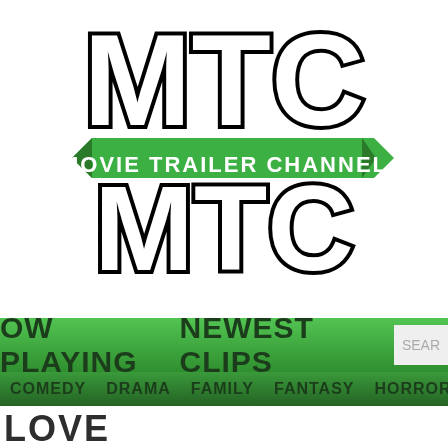[Figure (logo): MTC Movie Trailer Channel logo — large stylized letters MTC in black with white outline and a green ribbon banner reading MOVIE TRAILER CHANNEL]
MOVIE TRAILER CHANNEL
OW PLAYING   NEWEST CLIPS   SEAR
COMEDY   DRAMA   FAMILY   FANTASY   HORROR
LOVE
TO TOP